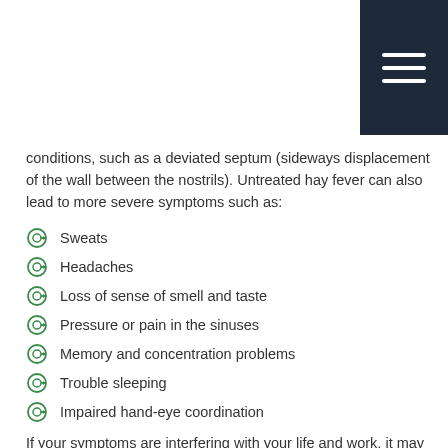conditions, such as a deviated septum (sideways displacement of the wall between the nostrils). Untreated hay fever can also lead to more severe symptoms such as:
Sweats
Headaches
Loss of sense of smell and taste
Pressure or pain in the sinuses
Memory and concentration problems
Trouble sleeping
Impaired hand-eye coordination
If your symptoms are interfering with your life and work, it may be time to make an appointment with your healthcare provider.
Diagnosing Hay Fever